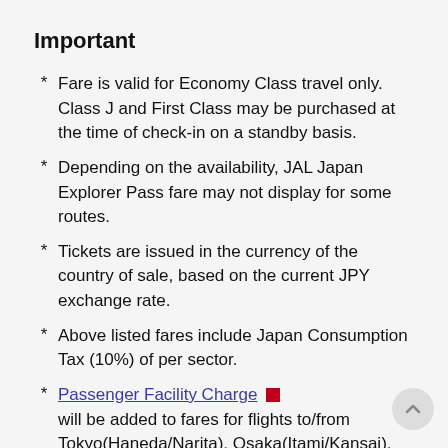Important
Fare is valid for Economy Class travel only. Class J and First Class may be purchased at the time of check-in on a standby basis.
Depending on the availability, JAL Japan Explorer Pass fare may not display for some routes.
Tickets are issued in the currency of the country of sale, based on the current JPY exchange rate.
Above listed fares include Japan Consumption Tax (10%) of per sector.
Passenger Facility Charge [link] will be added to fares for flights to/from Tokyo(Haneda/Narita), Osaka(Itami/Kansai), Sapporo(New Chitose), Nagoya(Chubu),